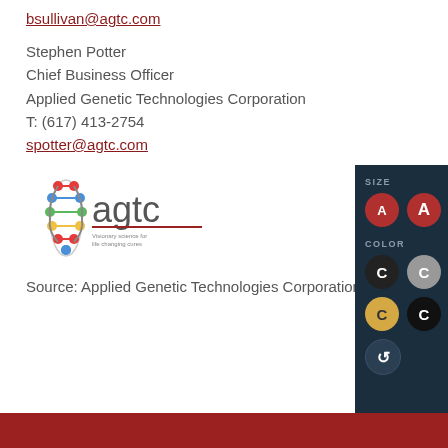bsullivan@agtc.com
Stephen Potter
Chief Business Officer
Applied Genetic Technologies Corporation
T: (617) 413-2754
spotter@agtc.com
[Figure (logo): AGTC logo with DNA helix graphic and 'agtc' text with tagline 'Visionary science for life changing cures']
Source: Applied Genetic Technologies Corporation
[Figure (infographic): Dark navy panel showing font size and color selectors with circles labeled A (two sizes) and C (four color variants) plus a reset button]